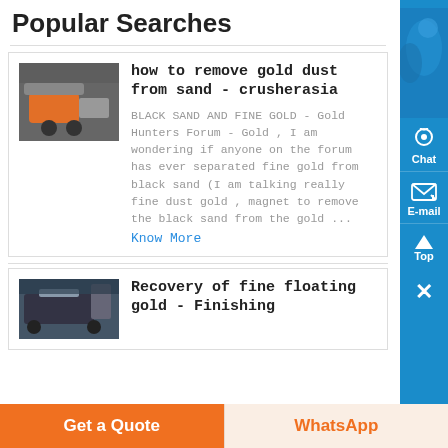Popular Searches
[Figure (photo): Mining or cutting equipment photo thumbnail]
how to remove gold dust from sand - crusherasia
BLACK SAND AND FINE GOLD - Gold Hunters Forum - Gold , I am wondering if anyone on the forum has ever separated fine gold from black sand (I am talking really fine dust gold , magnet to remove the black sand from the gold ...
Know More
[Figure (photo): Industrial equipment photo thumbnail]
Recovery of fine floating gold - Finishing
Get a Quote
WhatsApp